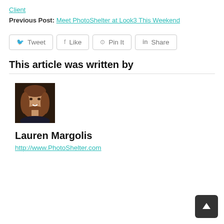Client
Previous Post: Meet PhotoShelter at Look3 This Weekend
[Figure (other): Social sharing buttons: Tweet, Like, Pin It, Share]
This article was written by
[Figure (photo): Headshot photo of Lauren Margolis, a woman with shoulder-length brown hair smiling]
Lauren Margolis
http://www.PhotoShelter.com